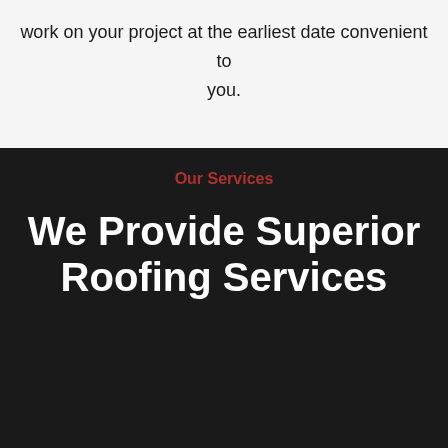work on your project at the earliest date convenient to you.
Our Services
We Provide Superior Roofing Services